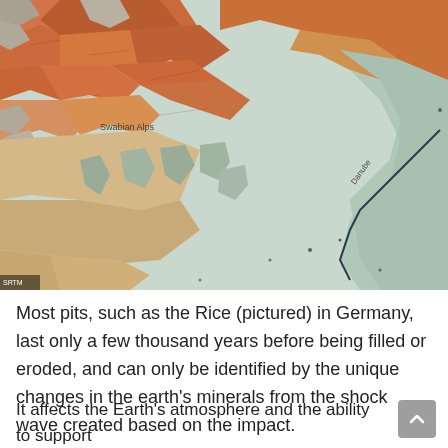[Figure (map): Satellite or topographic relief map showing mountainous terrain with reddish-orange and tan highlands, a river valley (labeled Danube) running through the lower right, and label 'Swabian Alps' in upper left area. Colors suggest elevation shading with greens and tans for lower areas and reds for higher terrain.]
Most pits, such as the Rice (pictured) in Germany, last only a few thousand years before being filled or eroded, and can only be identified by the unique changes in the earth's minerals from the shock wave created based on the impact.
It affects the Earth's atmosphere and the ability to support...